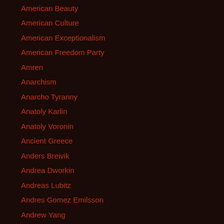American Beauty
American Culture
American Exceptionalism
American Freedom Party
Amren
Anarchism
Anarcho Tyranny
Anatoly Karlin
Anatoly Voronin
Ancient Greece
Anders Breivik
Andrea Dworkin
Andreas Lubitz
Andres Gomez Emilsson
Andrew Yang